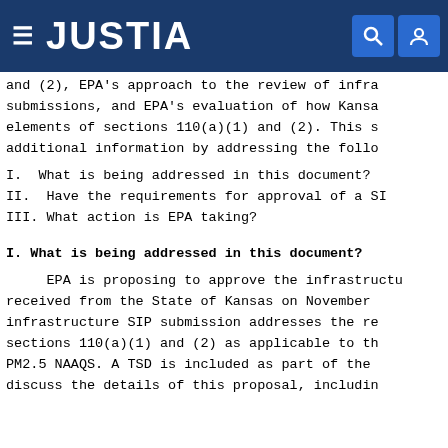JUSTIA
and (2), EPA's approach to the review of infra- submissions, and EPA's evaluation of how Kansa elements of sections 110(a)(1) and (2). This s additional information by addressing the follo
I. What is being addressed in this document?
II. Have the requirements for approval of a SI
III. What action is EPA taking?
I. What is being addressed in this document?
EPA is proposing to approve the infrastructu received from the State of Kansas on November infrastructure SIP submission addresses the re sections 110(a)(1) and (2) as applicable to th PM2.5 NAAQS. A TSD is included as part of the discuss the details of this proposal, includin